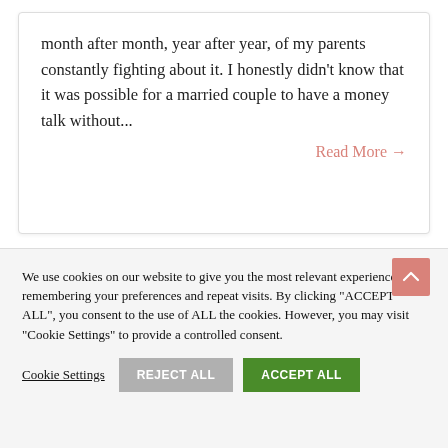[Figure (other): Hamburger menu icon (three horizontal lines) in the top-right corner]
month after month, year after year, of my parents constantly fighting about it. I honestly didn't know that it was possible for a married couple to have a money talk without...
Read More →
We use cookies on our website to give you the most relevant experience by remembering your preferences and repeat visits. By clicking "ACCEPT ALL", you consent to the use of ALL the cookies. However, you may visit "Cookie Settings" to provide a controlled consent.
Cookie Settings
REJECT ALL
ACCEPT ALL